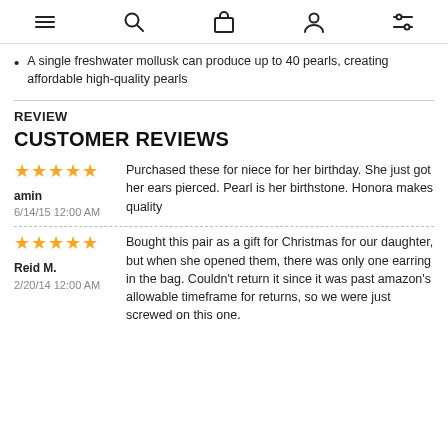Navigation icons: menu, search, bag, account, filters
A single freshwater mollusk can produce up to 40 pearls, creating affordable high-quality pearls
REVIEW
CUSTOMER REVIEWS
★★★★★
amin
6/14/15 12:00 AM
Purchased these for niece for her birthday. She just got her ears pierced. Pearl is her birthstone. Honora makes quality
★★★★★
Reid M.
2/20/14 12:00 AM
Bought this pair as a gift for Christmas for our daughter, but when she opened them, there was only one earring in the bag. Couldn't return it since it was past amazon's allowable timeframe for returns, so we were just screwed on this one.